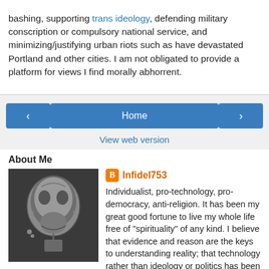bashing, supporting trans ideology, defending military conscription or compulsory national service, and minimizing/justifying urban riots such as have devastated Portland and other cities. I am not obligated to provide a platform for views I find morally abhorrent.
[Figure (screenshot): Navigation bar with back arrow button, Home button, and forward arrow button on a gray background, plus a 'View web version' link below]
About Me
[Figure (photo): Grayscale photo of a skull or head, resembling an X-ray or CT scan image]
Infidel753
Individualist, pro-technology, pro-democracy, anti-religion. It has been my great good fortune to live my whole life free of "spirituality" of any kind. I believe that evidence and reason are the keys to understanding reality; that technology rather than ideology or politics has been the great liberator of humanity; and that in the long run, human intelligence is the most powerful force in the universe.